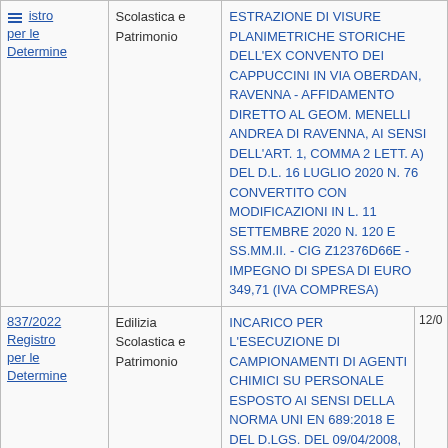|  | Settore | Oggetto | Data |
| --- | --- | --- | --- |
| Registro per le Determine | Edilizia Scolastica e Patrimonio | ESTRAZIONE DI VISURE PLANIMETRICHE STORICHE DELL'EX CONVENTO DEI CAPPUCCINI IN VIA OBERDAN, RAVENNA - AFFIDAMENTO DIRETTO AL GEOM. MENELLI ANDREA DI RAVENNA, AI SENSI DELL'ART. 1, COMMA 2 LETT. A) DEL D.L. 16 LUGLIO 2020 N. 76 CONVERTITO CON MODIFICAZIONI IN L. 11 SETTEMBRE 2020 N. 120 E SS.MM.II. - CIG Z12376D66E - IMPEGNO DI SPESA DI EURO 349,71 (IVA COMPRESA) |  |
| 837/2022 Registro per le Determine | Edilizia Scolastica e Patrimonio | INCARICO PER L'ESECUZIONE DI CAMPIONAMENTI DI AGENTI CHIMICI SU PERSONALE ESPOSTO AI SENSI DELLA NORMA UNI EN 689:2018 E DEL D.LGS. DEL 09/04/2008, N. 81 E S.M.I. - AFFIDAMENTO DIRETTO ALL'OPERATORE ECONOMICO BRUNO BUOZZI SOCIETÀ COOPERATIVA DI RAVENNA, AI SENSI DELL'ART. 1, COMMA 2 LETT. A) DEL D.L. 16 LUGLIO 2020 N. 76 CONVERTITO CON MODIFICAZIONI IN L. 11 SETTEMBRE 2020 N. 120 E SS.MM.II. - CIG Z55374AED6 - IMPEGNO DI SPESA DI EURO 1.976,40 (IVA | 12/0 |